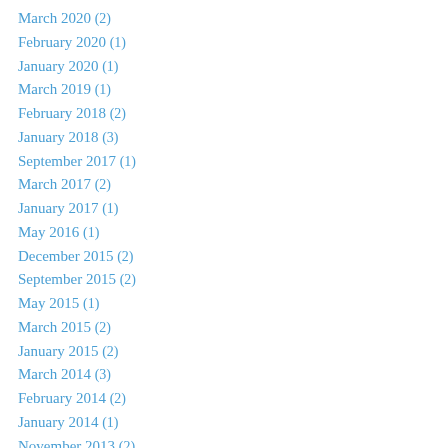March 2020 (2)
February 2020 (1)
January 2020 (1)
March 2019 (1)
February 2018 (2)
January 2018 (3)
September 2017 (1)
March 2017 (2)
January 2017 (1)
May 2016 (1)
December 2015 (2)
September 2015 (2)
May 2015 (1)
March 2015 (2)
January 2015 (2)
March 2014 (3)
February 2014 (2)
January 2014 (1)
November 2013 (2)
October 2013 (1)